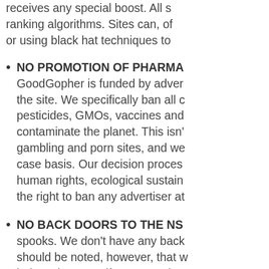receives any special boost. All s ranking algorithms. Sites can, of or using black hat techniques to
NO PROMOTION OF PHARMA GoodGopher is funded by adver the site. We specifically ban all c pesticides, GMOs, vaccines and contaminate the planet. This isn gambling and porn sites, and we case basis. Our decision proces human rights, ecological sustain the right to ban any advertiser at
NO BACK DOORS TO THE NS spooks. We don't have any back should be noted, however, that w judges, but even if a court order that which we don't possess!